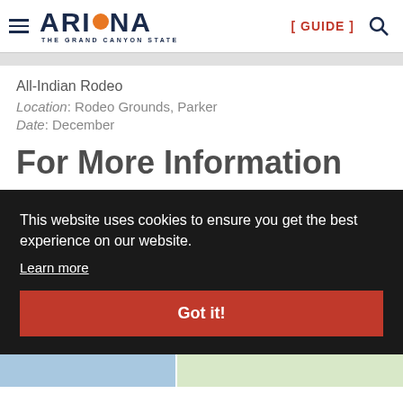ARIZONA THE GRAND CANYON STATE [ GUIDE ]
All-Indian Rodeo
Location: Rodeo Grounds, Parker
Date: December
For More Information
This website uses cookies to ensure you get the best experience on our website.
Learn more
Got it!
[Figure (map): Partial map view at bottom of page]